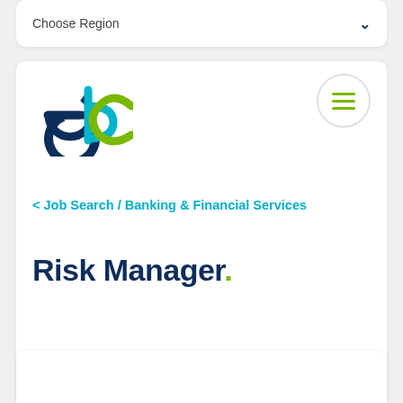Choose Region
[Figure (logo): EBC company logo with dark navy blue 'e' and teal/navy 'bc' letters combined]
[Figure (other): Hamburger menu icon (three horizontal olive/yellow-green lines) inside a circular bordered button]
< Job Search / Banking & Financial Services
Risk Manager.